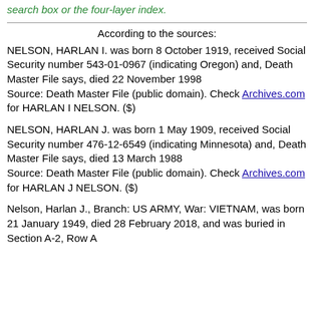search box or the four-layer index.
According to the sources:
NELSON, HARLAN I. was born 8 October 1919, received Social Security number 543-01-0967 (indicating Oregon) and, Death Master File says, died 22 November 1998
Source: Death Master File (public domain). Check Archives.com for HARLAN I NELSON. ($)
NELSON, HARLAN J. was born 1 May 1909, received Social Security number 476-12-6549 (indicating Minnesota) and, Death Master File says, died 13 March 1988
Source: Death Master File (public domain). Check Archives.com for HARLAN J NELSON. ($)
Nelson, Harlan J., Branch: US ARMY, War: VIETNAM, was born 21 January 1949, died 28 February 2018, and was buried in Section A-2, Row A